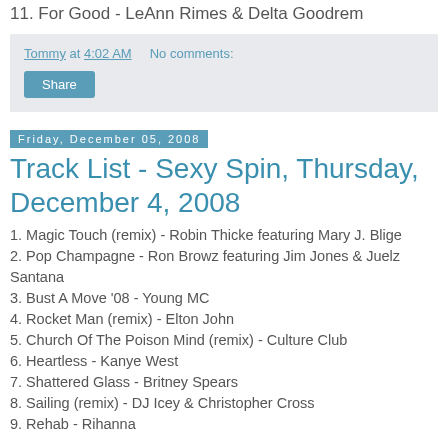11. For Good - LeAnn Rimes & Delta Goodrem
Tommy at 4:02 AM   No comments:
Share
Friday, December 05, 2008
Track List - Sexy Spin, Thursday, December 4, 2008
1. Magic Touch (remix) - Robin Thicke featuring Mary J. Blige
2. Pop Champagne - Ron Browz featuring Jim Jones & Juelz Santana
3. Bust A Move '08 - Young MC
4. Rocket Man (remix) - Elton John
5. Church Of The Poison Mind (remix) - Culture Club
6. Heartless - Kanye West
7. Shattered Glass - Britney Spears
8. Sailing (remix) - DJ Icey & Christopher Cross
9. Rehab - Rihanna